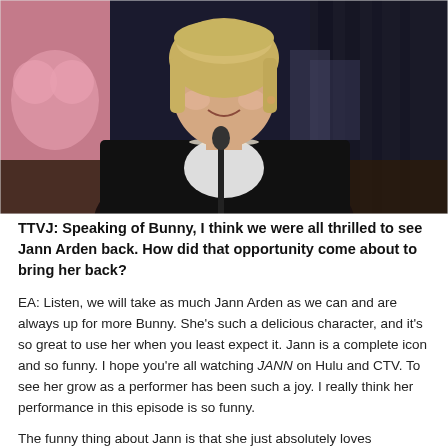[Figure (photo): A woman with blonde bob hair wearing a black blazer, pearl necklace, and white top, speaking in front of a microphone. She is smiling. The background has a pink heart shape on the left and dark curtains on the right.]
TTVJ: Speaking of Bunny, I think we were all thrilled to see Jann Arden back. How did that opportunity come about to bring her back?
EA: Listen, we will take as much Jann Arden as we can and are always up for more Bunny. She's such a delicious character, and it's so great to use her when you least expect it. Jann is a complete icon and so funny. I hope you're all watching JANN on Hulu and CTV. To see her grow as a performer has been such a joy. I really think her performance in this episode is so funny.
The funny thing about Jann is that she just absolutely loves